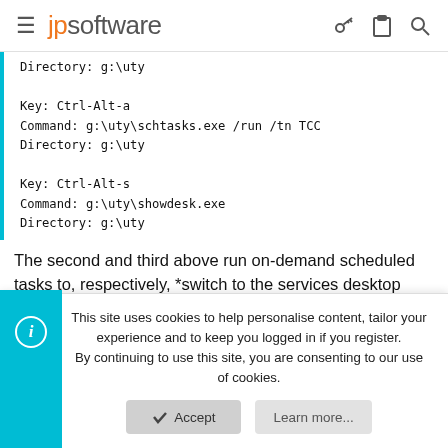jpsoftware
Directory: g:\uty

Key: Ctrl-Alt-a
Command: g:\uty\schtasks.exe /run /tn TCC
Directory: g:\uty

Key: Ctrl-Alt-s
Command: g:\uty\showdesk.exe
Directory: g:\uty
The second and third above run on-demand scheduled tasks to, respectively, *switch to the services desktop (where my mail server runs) and *start an elevated TCC (both without a UAC prompt). The SHTASKS.EXE that they use is one which I
This site uses cookies to help personalise content, tailor your experience and to keep you logged in if you register.
By continuing to use this site, you are consenting to our use of cookies.